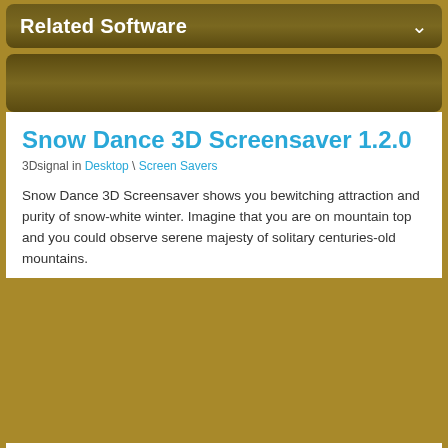Related Software
Snow Dance 3D Screensaver 1.2.0
3Dsignal in Desktop \ Screen Savers
Snow Dance 3D Screensaver shows you bewitching attraction and purity of snow-white winter. Imagine that you are on mountain top and you could observe serene majesty of solitary centuries-old mountains.
Snow Dance 3D Screensaver shows you bewitching attraction and purity of snow-white winter. Imagine that you are on mountain top and you could observe serene majesty of solitary centuries-old mountains. Smoothly falling fluffy flakes of snow create sensation of calmness and serenity.